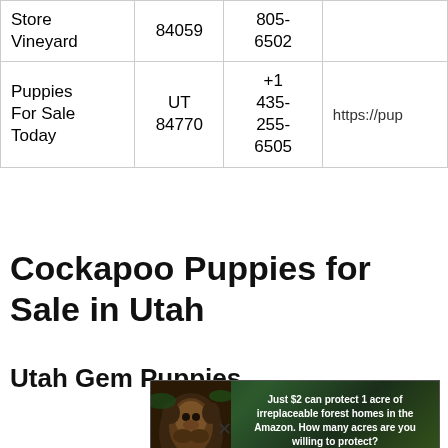| Store Vineyard | 84059 | 805-6502 |  |
| Puppies For Sale Today | UT 84770 | +1 435-255-6505 | https://pup |
Cockapoo Puppies for Sale in Utah
Utah Gem Puppies
[Figure (photo): Advertisement banner with forest/Amazon conservation message. Shows animal (monkey/primate) on dark green forest background. Text reads: 'Just $2 can protect 1 acre of irreplaceable forest homes in the Amazon. How many acres are you willing to protect?' with a green 'PROTECT FORESTS NOW' button.]